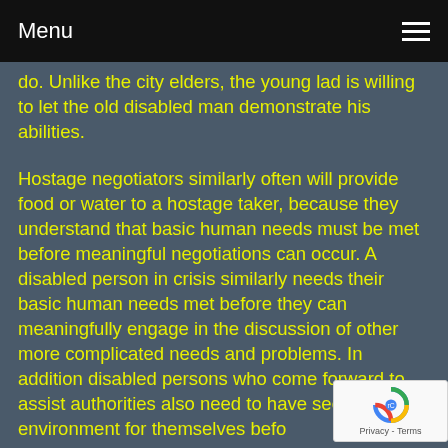Menu
do. Unlike the city elders, the young lad is willing to let the old disabled man demonstrate his abilities.
Hostage negotiators similarly often will provide food or water to a hostage taker, because they understand that basic human needs must be met before meaningful negotiations can occur. A disabled person in crisis similarly needs their basic human needs met before they can meaningfully engage in the discussion of other more complicated needs and problems. In addition disabled persons who come forward to assist authorities also need to have secure stable environment for themselves before they can assist another person or take on a meaningful r-